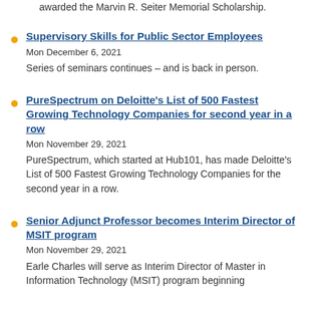awarded the Marvin R. Seiter Memorial Scholarship.
Supervisory Skills for Public Sector Employees
Mon December 6, 2021
Series of seminars continues – and is back in person.
PureSpectrum on Deloitte's List of 500 Fastest Growing Technology Companies for second year in a row
Mon November 29, 2021
PureSpectrum, which started at Hub101, has made Deloitte's List of 500 Fastest Growing Technology Companies for the second year in a row.
Senior Adjunct Professor becomes Interim Director of MSIT program
Mon November 29, 2021
Earle Charles will serve as Interim Director of Master in Information Technology (MSIT) program beginning